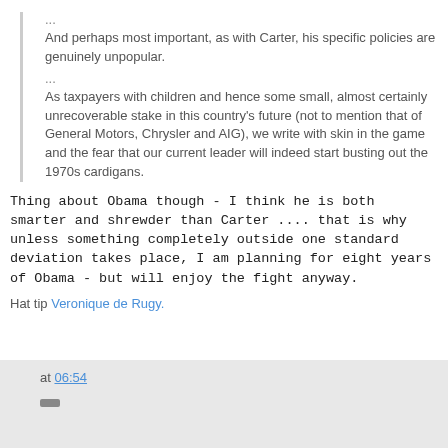...
And perhaps most important, as with Carter, his specific policies are genuinely unpopular.
...
As taxpayers with children and hence some small, almost certainly unrecoverable stake in this country's future (not to mention that of General Motors, Chrysler and AIG), we write with skin in the game and the fear that our current leader will indeed start busting out the 1970s cardigans.
Thing about Obama though - I think he is both smarter and shrewder than Carter .... that is why unless something completely outside one standard deviation takes place, I am planning for eight years of Obama - but will enjoy the fight anyway.
Hat tip Veronique de Rugy.
at 06:54